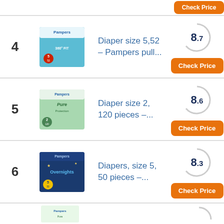4 – Diaper size 5,52 – Pampers pull... Score: 8.7
5 – Diaper size 2, 120 pieces –... Score: 8.6
6 – Diapers, size 5, 50 pieces –... Score: 8.3